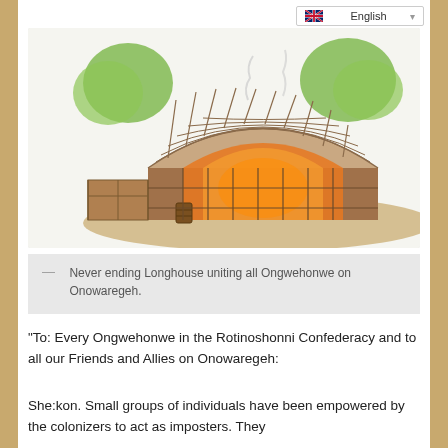[Figure (illustration): Cutaway illustration of a Native American longhouse showing the internal structure with arched wooden framework, glowing fire inside, and green trees in the background on earthy terrain.]
— Never ending Longhouse uniting all Ongwehonwe on Onowaregeh.
“To: Every Ongwehonwe in the Rotinoshonni Confederacy and to all our Friends and Allies on Onowaregeh:
She:kon. Small groups of individuals have been empowered by the colonizers to act as imposters. They